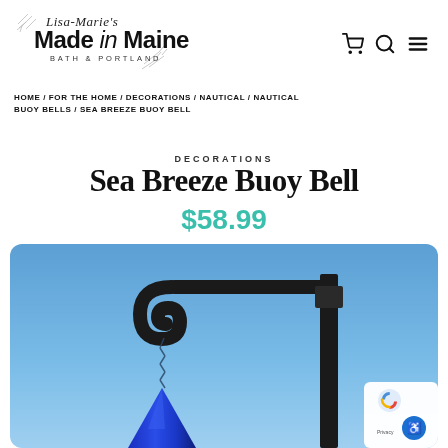[Figure (logo): Lisa-Marie's Made in Maine logo with script text and pine branches decoration, Bath & Portland]
HOME / FOR THE HOME / DECORATIONS / NAUTICAL / NAUTICAL BUOY BELLS / SEA BREEZE BUOY BELL
DECORATIONS
Sea Breeze Buoy Bell
$58.99
[Figure (photo): Blue buoy bell hanging from a black wrought-iron shepherd's hook post against a blue sky background]